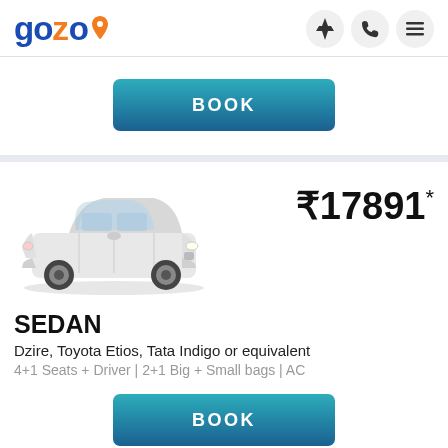[Figure (logo): Gozo logo with location pin icon in orange, text in blue]
[Figure (infographic): Navigation icons: lightning bolt, phone, hamburger menu]
[Figure (other): BOOK button with teal-to-blue gradient]
[Figure (photo): White Toyota Etios sedan car photo]
₹17891*
SEDAN
Dzire, Toyota Etios, Tata Indigo or equivalent
4+1 Seats + Driver | 2+1 Big + Small bags | AC
[Figure (other): BOOK button with teal-to-blue gradient]